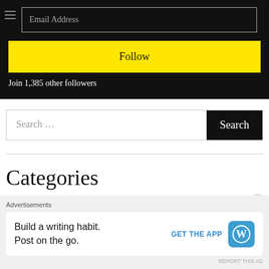Email Address
Follow
Join 1,385 other followers
Search ...
Search
Categories
Belgium
Book reviews
Advertisements
Build a writing habit.
Post on the go.
GET THE APP